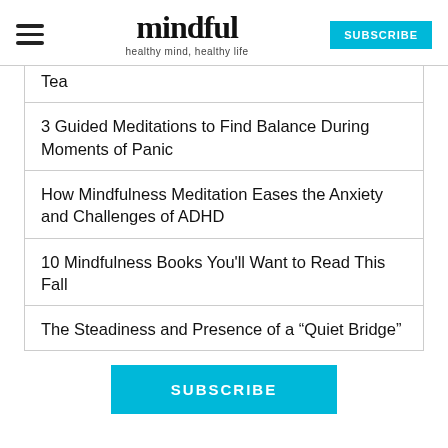mindful — healthy mind, healthy life — SUBSCRIBE
Tea
3 Guided Meditations to Find Balance During Moments of Panic
How Mindfulness Meditation Eases the Anxiety and Challenges of ADHD
10 Mindfulness Books You'll Want to Read This Fall
The Steadiness and Presence of a "Quiet Bridge"
SUBSCRIBE